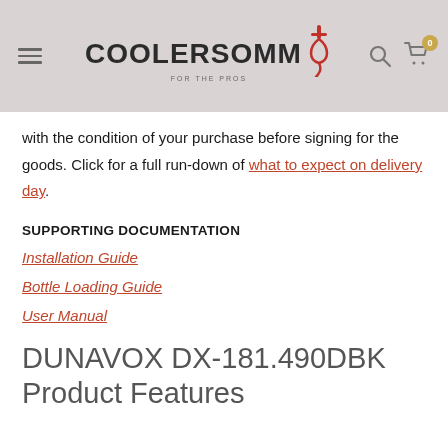COOLERSOMM FOR THE PROS — nav bar with logo, search, and cart icons
with the condition of your purchase before signing for the goods. Click for a full run-down of what to expect on delivery day.
SUPPORTING DOCUMENTATION
Installation Guide
Bottle Loading Guide
User Manual
DUNAVOX DX-181.490DBK Product Features